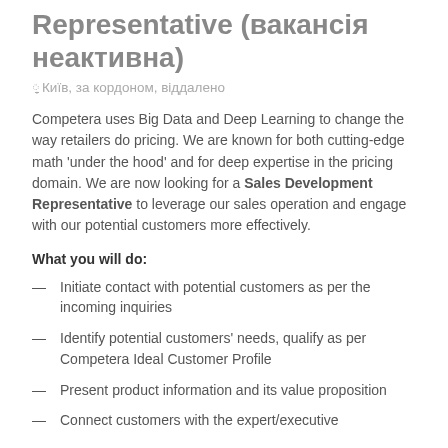Representative (вакансія неактивна)
Київ, за кордоном, віддалено
Competera uses Big Data and Deep Learning to change the way retailers do pricing. We are known for both cutting-edge math 'under the hood' and for deep expertise in the pricing domain. We are now looking for a Sales Development Representative to leverage our sales operation and engage with our potential customers more effectively.
What you will do:
Initiate contact with potential customers as per the incoming inquiries
Identify potential customers' needs, qualify as per Competera Ideal Customer Profile
Present product information and its value proposition
Connect customers with the expert/executive